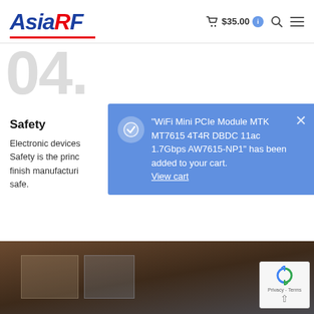AsiaRF — $35.00 [cart]
04.
Safety
Electronic devices Safety is the princ finish manufacturi safe.
"WiFi Mini PCIe Module MTK MT7615 4T4R DBDC 11ac 1.7Gbps AW7615-NP1" has been added to your cart. View cart
[Figure (photo): Bottom photo of industrial/warehouse space]
[Figure (logo): reCAPTCHA badge with arrows icon, Privacy - Terms text]